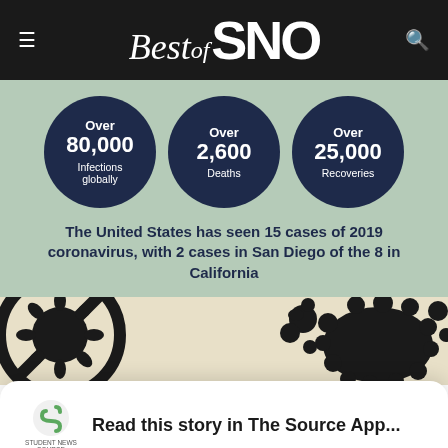Best of SNO
[Figure (infographic): Three dark navy circles on a sage green background showing coronavirus statistics: Over 80,000 Infections globally, Over 2,600 Deaths, Over 25,000 Recoveries]
The United States has seen 15 cases of 2019 coronavirus, with 2 cases in San Diego of the 8 in California
[Figure (illustration): Black silhouettes on cream/beige background showing a no-virus circular symbol on the left and coronavirus particle illustrations on the right]
Read this story in The Source App...
Open App   Continue in browser